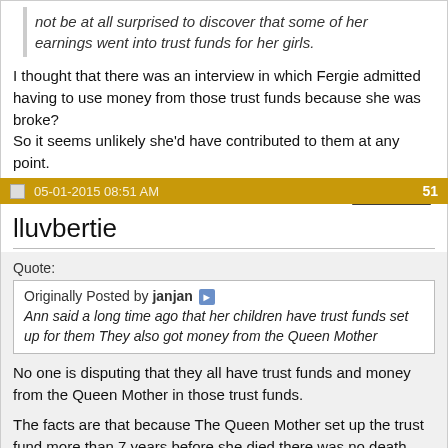not be at all surprised to discover that some of her earnings went into trust funds for her girls.
I thought that there was an interview in which Fergie admitted having to use money from those trust funds because she was broke? So it seems unlikely she'd have contributed to them at any point.
QUOTE
05-01-2015 08:51 AM   51
lluvbertie
Quote:
Originally Posted by janjan > Ann said a long time ago that her children have trust funds set up for them They also got money from the Queen Mother
No one is disputing that they all have trust funds and money from the Queen Mother in those trust funds.
The facts are that because The Queen Mother set up the trust fund more than 7 years before she died there was no death duties to be paid on that money. That law applies to everyone.